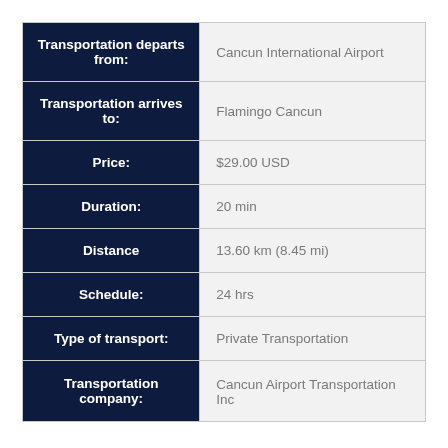| Field | Value |
| --- | --- |
| Transportation departs from: | Cancun International Airport |
| Transportation arrives to: | Flamingo Cancun |
| Price: | $29.00 USD |
| Duration: | 20 min |
| Distance | 13.60 km (8.45 mi) |
| Schedule: | 24 hrs |
| Type of transport: | Private Transportation |
| Transportation company: | Cancun Airport Transportation Inc |